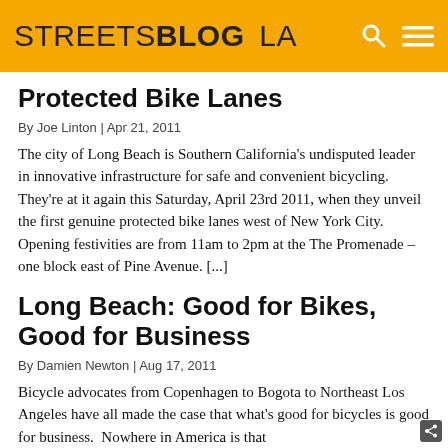STREETSBLOG LA
Protected Bike Lanes
By Joe Linton | Apr 21, 2011
The city of Long Beach is Southern California's undisputed leader in innovative infrastructure for safe and convenient bicycling.  They're at it again this Saturday, April 23rd 2011, when they unveil the first genuine protected bike lanes west of New York City. Opening festivities are from 11am to 2pm at the The Promenade – one block east of Pine Avenue. [...]
Long Beach: Good for Bikes, Good for Business
By Damien Newton | Aug 17, 2011
Bicycle advocates from Copenhagen to Bogota to Northeast Los Angeles have all made the case that what's good for bicycles is good for business.  Nowhere in America is that